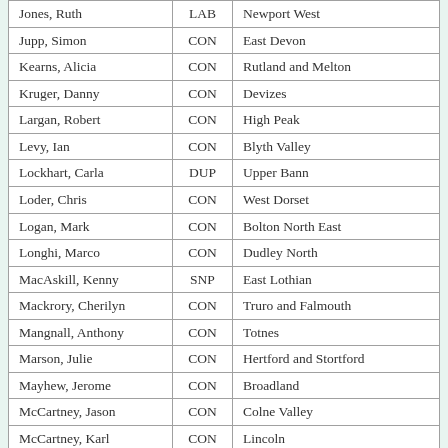| Name | Party | Constituency |
| --- | --- | --- |
| Jones, Ruth | LAB | Newport West |
| Jupp, Simon | CON | East Devon |
| Kearns, Alicia | CON | Rutland and Melton |
| Kruger, Danny | CON | Devizes |
| Largan, Robert | CON | High Peak |
| Levy, Ian | CON | Blyth Valley |
| Lockhart, Carla | DUP | Upper Bann |
| Loder, Chris | CON | West Dorset |
| Logan, Mark | CON | Bolton North East |
| Longhi, Marco | CON | Dudley North |
| MacAskill, Kenny | SNP | East Lothian |
| Mackrory, Cherilyn | CON | Truro and Falmouth |
| Mangnall, Anthony | CON | Totnes |
| Marson, Julie | CON | Hertford and Stortford |
| Mayhew, Jerome | CON | Broadland |
| McCartney, Jason | CON | Colne Valley |
| McCartney, Karl | CON | Lincoln |
| McLaughlin, Anne | SNP | Glasgow North East |